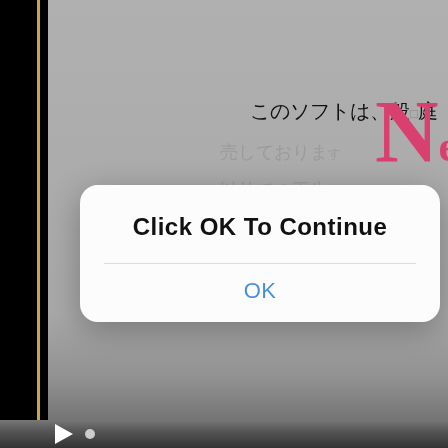[Figure (screenshot): Screenshot of a media player showing Japanese text on a gray background. A white iOS-style dialog box overlays the center with the message 'Click OK To Continue' and an OK button. Japanese text visible: このソフトは、般（庭, 売しておりますＮ, 人以外での再生, 及び送信や放送などを. A large pink 'N' logo is visible on the right. Bottom shows playback controls.]